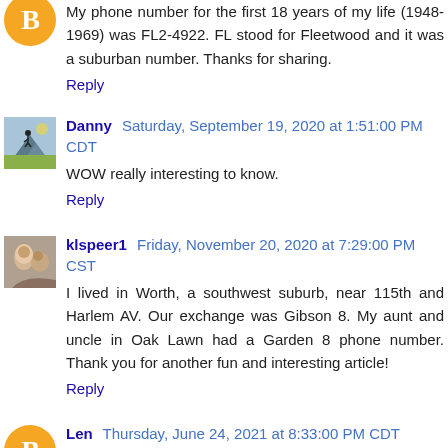My phone number for the first 18 years of my life (1948-1969) was FL2-4922. FL stood for Fleetwood and it was a suburban number. Thanks for sharing.
Reply
Danny  Saturday, September 19, 2020 at 1:51:00 PM CDT
WOW really interesting to know.
Reply
klspeer1  Friday, November 20, 2020 at 7:29:00 PM CST
I lived in Worth, a southwest suburb, near 115th and Harlem AV. Our exchange was Gibson 8. My aunt and uncle in Oak Lawn had a Garden 8 phone number. Thank you for another fun and interesting article!
Reply
Len  Thursday, June 24, 2021 at 8:33:00 PM CDT